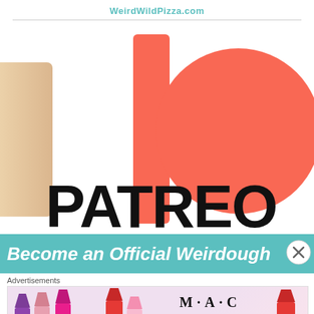WeirdWildPizza.com
[Figure (logo): Patreon logo — a coral/red vertical rectangle bar on the left, a large coral/red circle on the right, with 'PATREON' text in bold black below (partially cropped, showing 'PATREO'). A partial cropped image of a person is visible at the left edge.]
[Figure (screenshot): Teal banner with white bold italic text reading 'Become an Official Weirdough' with a close/X button on the right.]
Advertisements
[Figure (photo): MAC Cosmetics advertisement banner showing colorful lipsticks on the left, MAC logo in the center, and a 'SHOP NOW' box on the right.]